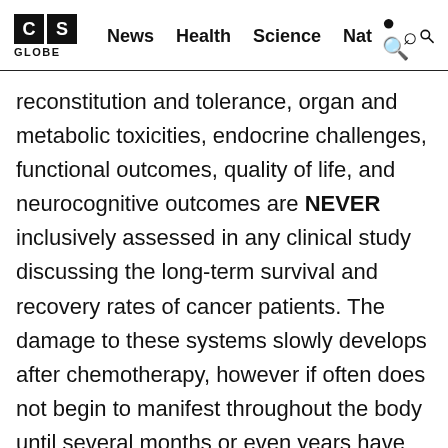CS GLOBE | News  Health  Science  Nat
reconstitution and tolerance, organ and metabolic toxicities, endocrine challenges, functional outcomes, quality of life, and neurocognitive outcomes are NEVER inclusively assessed in any clinical study discussing the long-term survival and recovery rates of cancer patients. The damage to these systems slowly develops after chemotherapy, however if often does not begin to manifest throughout the body until several months or even years have passed. It takes time, but within a 3-5 year period, most chemotherapy patients begin to have many more symptoms of disease than they every had before their diagnosis, due to and as a direct